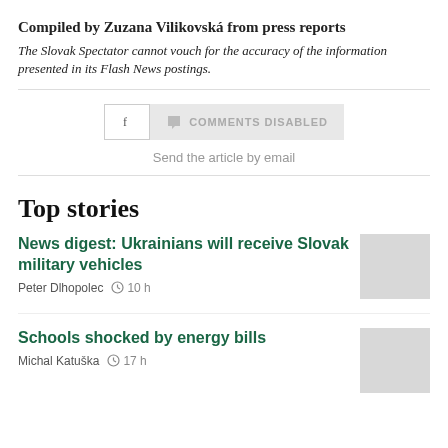Compiled by Zuzana Vilikovská from press reports
The Slovak Spectator cannot vouch for the accuracy of the information presented in its Flash News postings.
[Figure (infographic): Social sharing bar with Facebook button and Comments Disabled button]
Send the article by email
Top stories
News digest: Ukrainians will receive Slovak military vehicles
Peter Dlhopolec  10 h
Schools shocked by energy bills
Michal Katuška  17 h